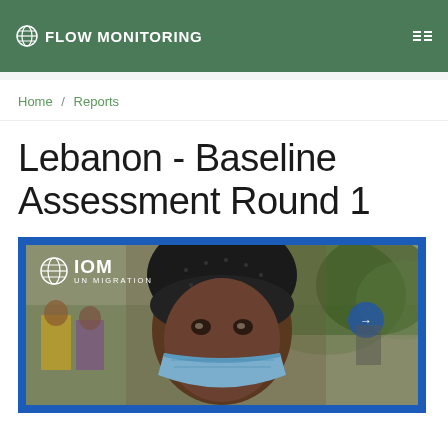FLOW MONITORING
Home / Reports
Lebanon - Baseline Assessment Round 1
[Figure (photo): IOM UN Migration report cover photo showing a woman wearing a black knit hat and a blue face mask in an urban street setting. The IOM UN Migration logo appears in the top-left corner of the photo. The photo is framed with a blue border.]